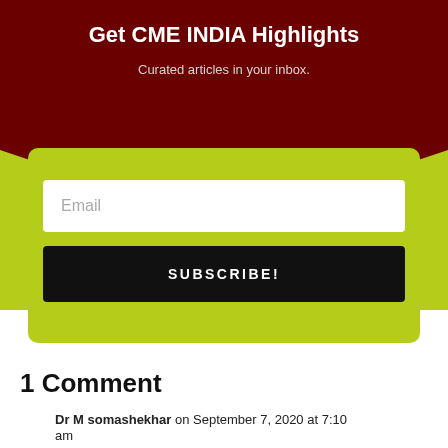Get CME INDIA Highlights
Curated articles in your inbox.
Email
SUBSCRIBE!
1 Comment
Dr M somashekhar on September 7, 2020 at 7:10 am